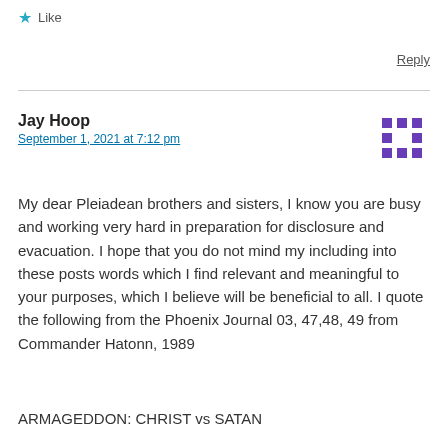Like
Reply
Jay Hoop
September 1, 2021 at 7:12 pm
My dear Pleiadean brothers and sisters, I know you are busy and working very hard in preparation for disclosure and evacuation. I hope that you do not mind my including into these posts words which I find relevant and meaningful to your purposes, which I believe will be beneficial to all. I quote the following from the Phoenix Journal 03, 47,48, 49 from Commander Hatonn, 1989
ARMAGEDDON: CHRIST vs SATAN